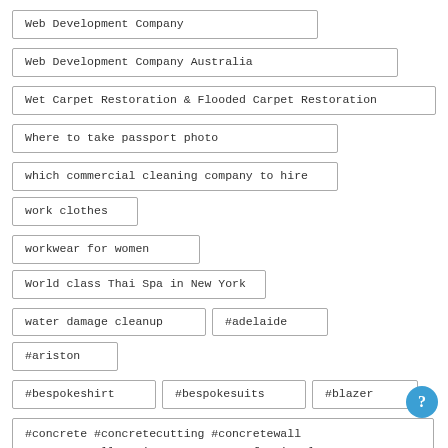Web Development Company
Web Development Company Australia
Wet Carpet Restoration & Flooded Carpet Restoration
Where to take passport photo
which commercial cleaning company to hire
work clothes
workwear for women
World class Thai Spa in New York
water damage cleanup
#adelaide
#ariston
#bespokeshirt
#bespokesuits
#blazer
#concrete #concretecutting #concretewall #concretewallcutting #concreteprofessionals